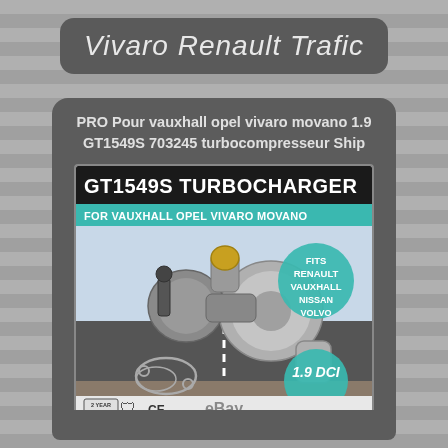Vivaro Renault Trafic
PRO Pour vauxhall opel vivaro movano 1.9 GT1549S 703245 turbocompresseur Ship
[Figure (photo): GT1549S Turbocharger product photo showing a turbocompressor unit for Vauxhall Opel Vivaro Movano 1.9 DCI, fits Renault, Vauxhall, Nissan, Volvo. Shows 2 year warranty, CE mark, and eBay branding.]